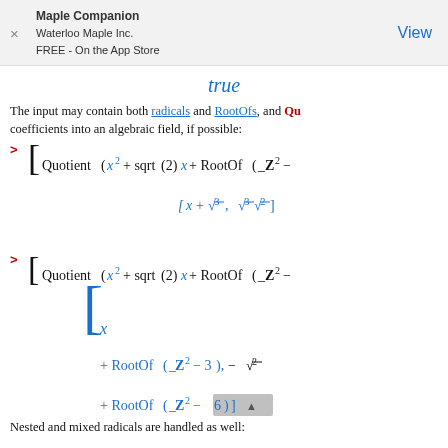Maple Companion
Waterloo Maple Inc.
FREE - On the App Store
View
The input may contain both radicals and RootOfs, and Qu... coefficients into an algebraic field, if possible:
Nested and mixed radicals are handled as well: